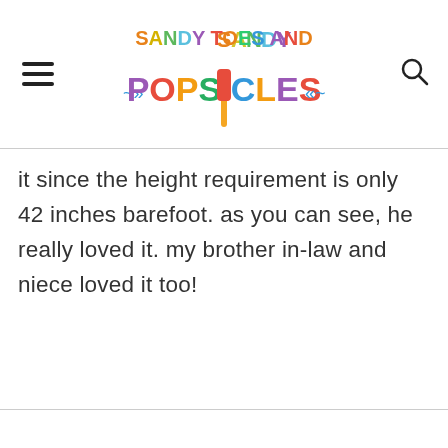Sandy Toes and Popsicles
it since the height requirement is only 42 inches barefoot. as you can see, he really loved it. my brother in-law and niece loved it too!